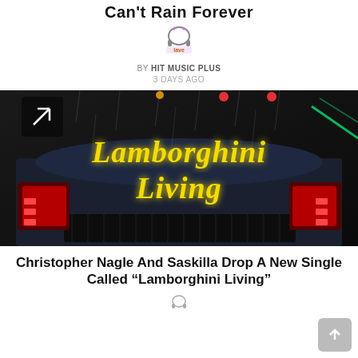Can't Rain Forever
[Figure (logo): Sound Lave headphones logo with purple/orange text]
BY HIT MUSIC PLUS
3 DAYS AGO
[Figure (photo): Dark rainy scene featuring a Lamborghini with neon yellow cursive text reading 'Lamborghini Living' on the back of the car. Red taillights visible. An arrow icon in the top left corner.]
Christopher Nagle And Saskilla Drop A New Single Called “Lamborghini Living”
[Figure (logo): Small headphones icon at the bottom center]